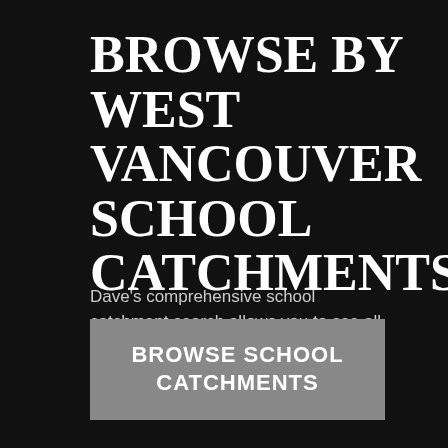BROWSE BY WEST VANCOUVER SCHOOL CATCHMENTS
Dave's comprehensive school catchment search allows you to see all of the school catchments in West Vancouver and the listings for sale within them.
BROWSE SCHOOL CATCHMENTS